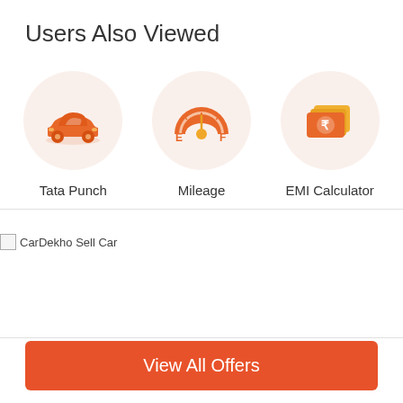Users Also Viewed
[Figure (illustration): Three circular icons: 1) Car icon (Tata Punch) on peach background, 2) Fuel gauge meter icon (Mileage) on peach background, 3) Rupee/money icon (EMI Calculator) on peach background]
Tata Punch
Mileage
EMI Calculator
[Figure (illustration): Broken image placeholder labeled 'CarDekho Sell Car']
View All Offers